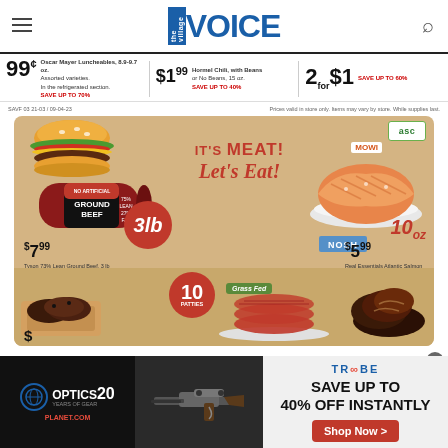the Village VOICE
99¢ Oscar Mayer Luncheables, 8.9-9.7 oz. Assorted varieties. In the refrigerated section. SAVE UP TO 70%
$1.99 Hormel Chili, with Beans or No Beans, 15 oz. SAVE UP TO 40%
2 for $1 SAVE UP TO 60%
Prices valid in store only. Items may vary by store. While supplies last.
[Figure (photo): Grocery store meat advertisement with ground beef and salmon on tan background. Text reads IT'S MEAT! Let's Eat! Ground beef 3lb $7.99, Tyson 73% Lean Ground Beef 3 lb, SAVE UP TO $4.49. Salmon 10oz $5.99, Real Essentials Atlantic Salmon Portion 10oz Previously Frozen, SAVE UP TO $8.19. Bottom shows 10 patties Grass Fed. White plate with beef patties visible.]
[Figure (photo): Advertisement banner: Optics Planet 20 years logo on dark background with rifle image and Trybe brand. Text: SAVE UP TO 40% OFF INSTANTLY. Shop Now button.]